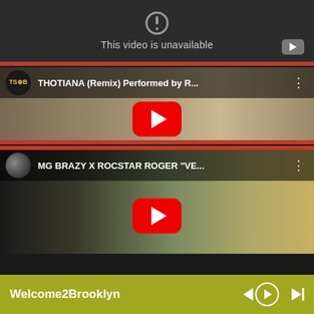[Figure (screenshot): YouTube video player showing 'This video is unavailable' with a dark background and YouTube logo icon in lower right]
[Figure (screenshot): YouTube video thumbnail for 'THOTIANA (Remix) Performed by R...' with red play button and TSoB channel avatar]
[Figure (screenshot): YouTube video thumbnail for 'MG BRAZY X ROCSTAR ROGER VE...' with red play button, showing two people outdoors]
Welcome2Brooklyn
[Figure (screenshot): Music player bar at bottom with play, previous, and next controls, olive/yellow-green background]